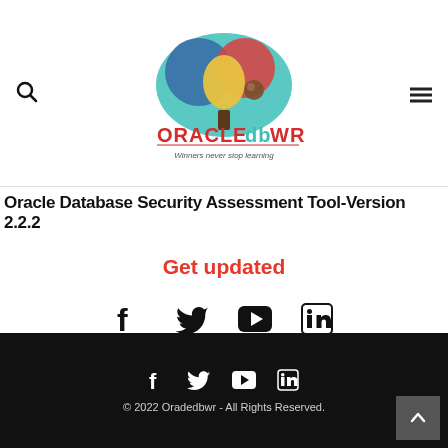[Figure (logo): Oracle db WR logo with colorful cloud icon and text 'ORACLE db WR' and tagline 'Winners never stop learning']
Oracle Database Security Assessment Tool-Version 2.2.2
Get updated
[Figure (infographic): Social media icons: Facebook, Twitter, YouTube, LinkedIn]
© 2022 Oradedbwr - All Rights Reserved.